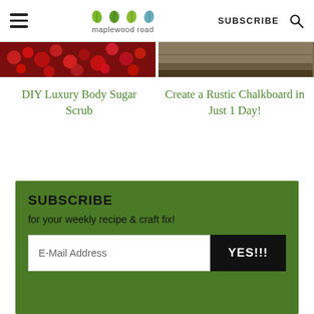maplewood road — SUBSCRIBE
[Figure (photo): Two cropped article thumbnail images side by side: left shows red cranberries, right shows a rustic wooden surface]
DIY Luxury Body Sugar Scrub
Create a Rustic Chalkboard in Just 1 Day!
SUBSCRIBE
for your weekly recipe & craft fix!
E-Mail Address  YES!!!